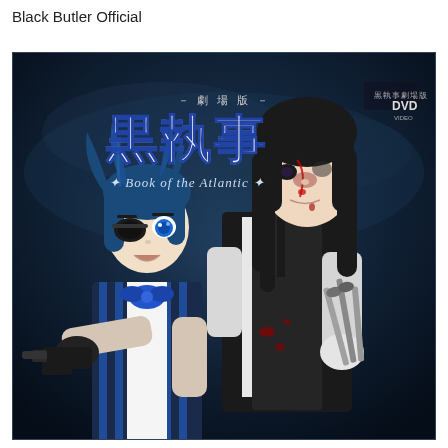Black Butler Official
[Figure (illustration): DVD cover art for the Black Butler (Kuroshitsuji) theatrical film 'Book of the Atlantic'. Shows two anime characters against a dark blue background: a young boy with blue hair, an eye patch, and a striped waistcoat holding a gun, and a tall dark-haired butler in a black vest holding scissors/knives. Japanese text '劇場版 黒執事' and subtitle 'Book of the Atlantic' are visible. DVD logo in upper right corner.]